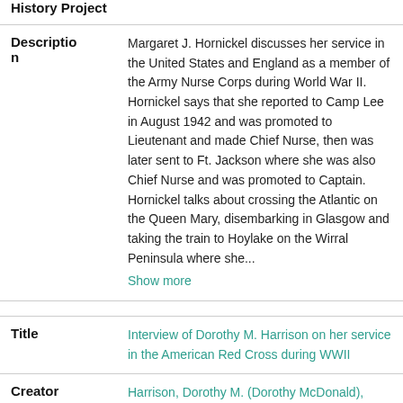| Field | Value |
| --- | --- |
| Description | Margaret J. Hornickel discusses her service in the United States and England as a member of the Army Nurse Corps during World War II. Hornickel says that she reported to Camp Lee in August 1942 and was promoted to Lieutenant and made Chief Nurse, then was later sent to Ft. Jackson where she was also Chief Nurse and was promoted to Captain. Hornickel talks about crossing the Atlantic on the Queen Mary, disembarking in Glasgow and taking the train to Hoylake on the Wirral Peninsula where she... Show more |
| Title | Interview of Dorothy M. Harrison on her service in the American Red Cross during WWII |
| Creator | Harrison, Dorothy M. (Dorothy McDonald), 1914-2001 |